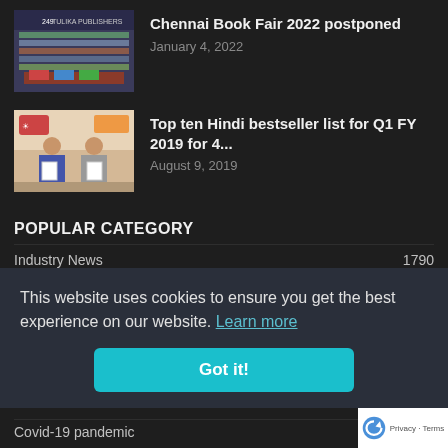[Figure (photo): Thumbnail photo of a bookstore stall with Tulika Publishers sign]
Chennai Book Fair 2022 postponed
January 4, 2022
[Figure (photo): Thumbnail photo of two people holding certificates]
Top ten Hindi bestseller list for Q1 FY 2019 for 4...
August 9, 2019
POPULAR CATEGORY
Industry News	1790
1227
967
803
This website uses cookies to ensure you get the best experience on our website. Learn more
Got it!
Covid-19 pandemic	586